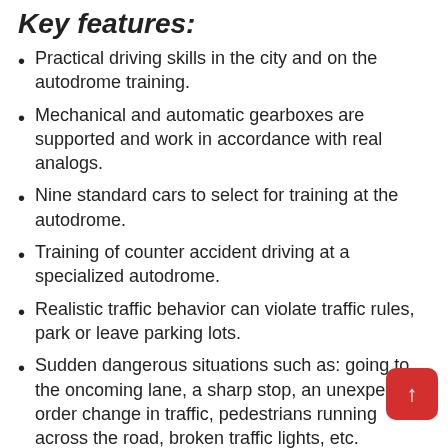Key features:
Practical driving skills in the city and on the autodrome training.
Mechanical and automatic gearboxes are supported and work in accordance with real analogs.
Nine standard cars to select for training at the autodrome.
Training of counter accident driving at a specialized autodrome.
Realistic traffic behavior can violate traffic rules, park or leave parking lots.
Sudden dangerous situations such as: going to the oncoming lane, a sharp stop, an unexpected order change in traffic, pedestrians running across the road, broken traffic lights, etc.